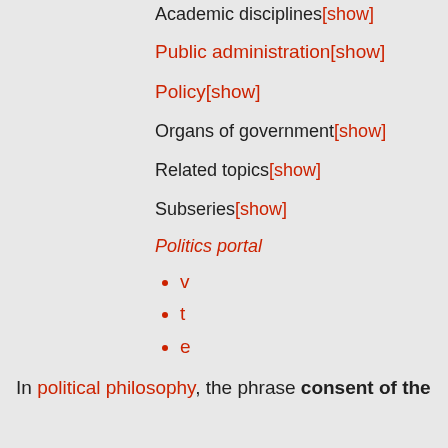Academic disciplines[show]
Public administration[show]
Policy[show]
Organs of government[show]
Related topics[show]
Subseries[show]
Politics portal
v
t
e
In political philosophy, the phrase consent of the